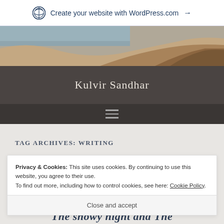Create your website with WordPress.com →
[Figure (photo): Desert sand dunes landscape photo used as hero image]
Kulvir Sandhar
TAG ARCHIVES: WRITING
Privacy & Cookies: This site uses cookies. By continuing to use this website, you agree to their use.
To find out more, including how to control cookies, see here: Cookie Policy
Close and accept
The snowy night and The